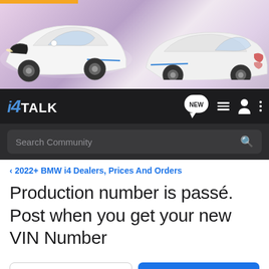[Figure (photo): Banner image showing two white BMW i4 electric vehicles, one from the front-left angle and one from the rear-right angle, against a soft purple/pink gradient background. An orange bar is visible at the top left.]
[Figure (logo): i4Talk forum logo: 'i4' in italic blue bold font with a slash-style numeral 4, followed by 'TALK' in white bold uppercase letters, on a dark background.]
Search Community
< 2022+ BMW i4 Dealers, Prices And Orders
Production number is passé. Post when you get your new VIN Number
→ Jump to Latest
+ Follow